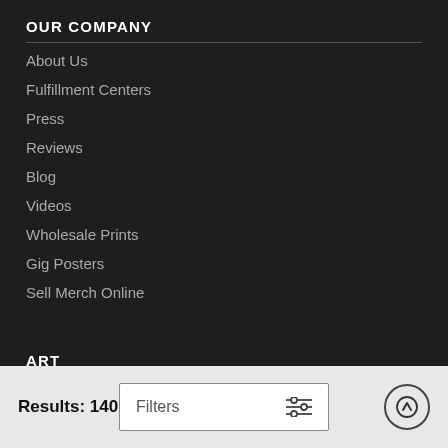OUR COMPANY
About Us
Fulfillment Centers
Press
Reviews
Blog
Videos
Wholesale Prints
Gig Posters
Sell Merch Online
ART
Paintings
Photographs
Drawings
Results: 140
Filters